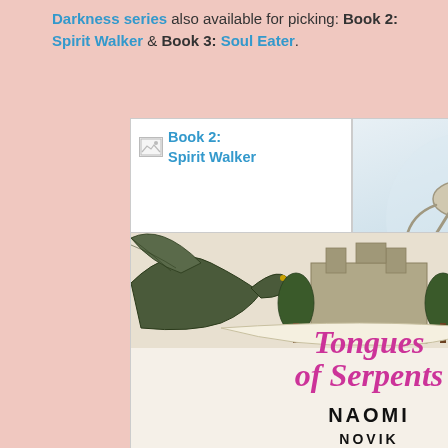Darkness series also available for picking: Book 2: Spirit Walker & Book 3: Soul Eater.
[Figure (photo): Two book covers side by side: Left - Book 2: Spirit Walker (broken image placeholder with blue text label). Right - Soul Eater book cover showing a creature and stylized red title text with author name Michelle Paver.]
[Figure (photo): Book cover of 'Tongues of Serpents' by Naomi Novik, showing two dragons flanking an ornate scene, with the title in purple italic script and the author name in bold black capitals.]